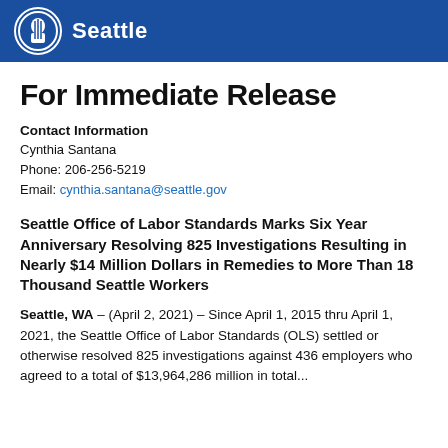Seattle
For Immediate Release
Contact Information
Cynthia Santana
Phone: 206-256-5219
Email: cynthia.santana@seattle.gov
Seattle Office of Labor Standards Marks Six Year Anniversary Resolving 825 Investigations Resulting in Nearly $14 Million Dollars in Remedies to More Than 18 Thousand Seattle Workers
Seattle, WA – (April 2, 2021) – Since April 1, 2015 thru April 1, 2021, the Seattle Office of Labor Standards (OLS) settled or otherwise resolved 825 investigations against 436 employers who agreed to a total of $13,964,286 million in total...